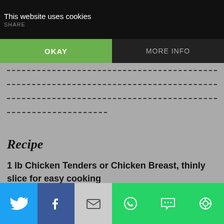This website uses cookies | SHARE
OKAY
MORE INFO
Recipe
1 lb Chicken Tenders or Chicken Breast, thinly slice for easy cooking
6 strips Thick Cut Bacon, do not disguised the
Share buttons: Twitter, Facebook, Email, WhatsApp, SMS, More